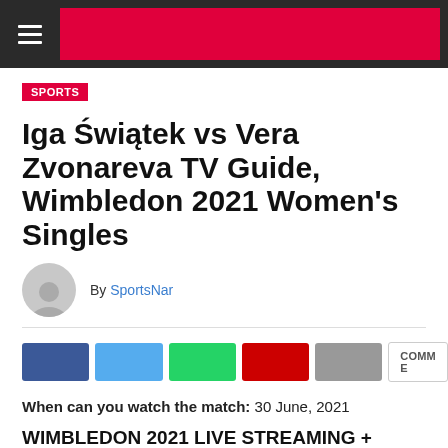SportsNar website header with hamburger menu and pink banner
SPORTS
Iga Świątek vs Vera Zvonareva TV Guide, Wimbledon 2021 Women's Singles
By SportsNar
[Figure (other): Social share buttons: Facebook, Twitter, WhatsApp, YouTube/Red, Share (grey), COMMENT (white outlined)]
When can you watch the match: 30 June, 2021
WIMBLEDON 2021 LIVE STREAMING + TV CHANNELS DETAILS, BROADCAST